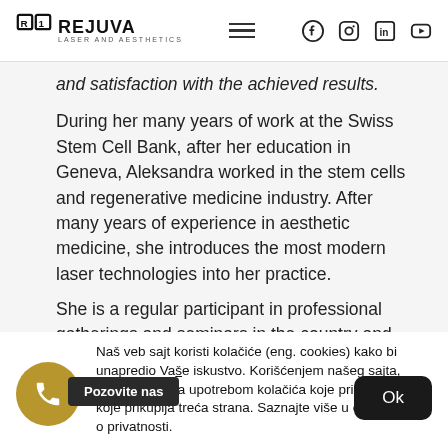REJUVA LASER AND AESTHETICS — navigation header with social icons
and satisfaction with the achieved results.
During her many years of work at the Swiss Stem Cell Bank, after her education in Geneva, Aleksandra worked in the stem cells and regenerative medicine industry. After many years of experience in aesthetic medicine, she introduces the most modern laser technologies into her practice. She is a regular participant in professional gatherings and seminars in the country and abroad.
Naš veb sajt koristi kolačiće (eng. cookies) kako bi unapredio Vaše iskustvo. Korišćenjem našeg sajta, saglasni ste sa upotrebom kolačića koje prikupljamo ili koje prikuplja treća strana. Saznajte više u obaveštenju o privatnosti.
Pozovite nas
Ok